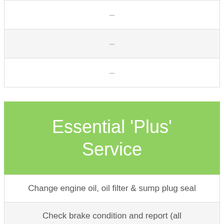| – |
| – |
| – |
Essential 'Plus' Service
Change engine oil, oil filter & sump plug seal
Check brake condition and report (all wheels removed)
Check steering system/s and suspension